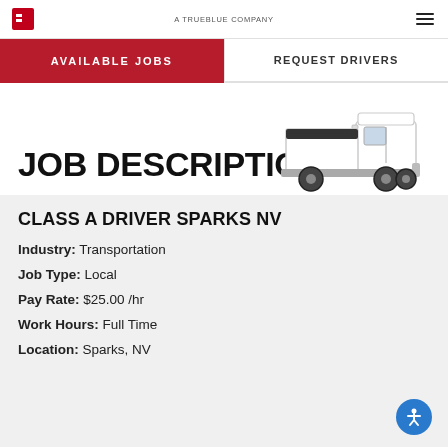A TRUEBLUE COMPANY
AVAILABLE JOBS
REQUEST DRIVERS
JOB DESCRIPTION
[Figure (illustration): Illustration of a white flatbed/box truck facing right]
CLASS A DRIVER SPARKS NV
Industry: Transportation
Job Type: Local
Pay Rate: $25.00 /hr
Work Hours: Full Time
Location: Sparks, NV